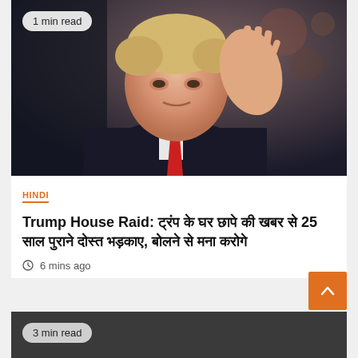[Figure (photo): Photo of Donald Trump in dark suit and red tie, raising his right hand in a waving gesture, against a blurred outdoor background. Badge overlay reads '1 min read'.]
1 min read
HINDI
Trump House Raid: ट्रंप के घर छापे की खबर से 25 साल पुराने दोस्त भड़काए, बोलने से मना करोगे
6 mins ago
[Figure (photo): Second article card with dark background. Badge overlay reads '3 min read'.]
3 min read